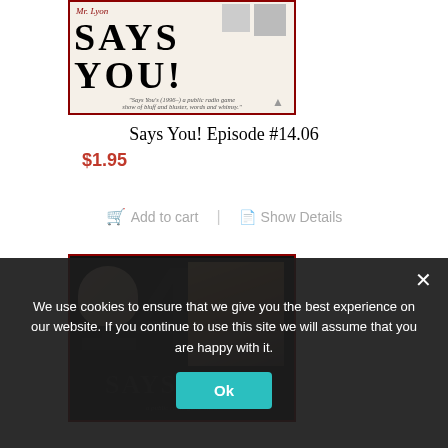[Figure (photo): Says You! podcast/radio show logo with bold SAYS YOU! text and two person photos, dark red border, beige background]
Says You! Episode #14.06
$1.95
Add to cart | Show Details
[Figure (photo): Second Says You! product image showing large number 14 with people in background, dark background, SAYS YOU! text at bottom]
We use cookies to ensure that we give you the best experience on our website. If you continue to use this site we will assume that you are happy with it.
Ok